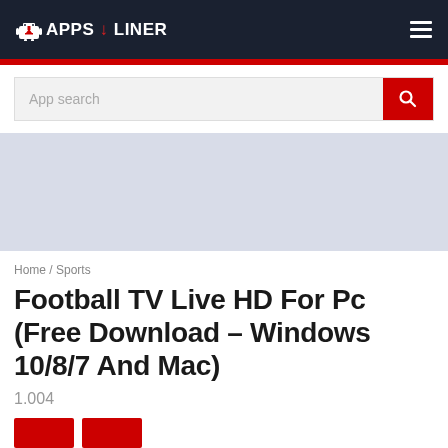APPS LINER
[Figure (screenshot): Search bar with placeholder text 'App search' and red search button]
[Figure (other): Advertisement banner placeholder area with light blue-gray background]
Home / Sports
Football TV Live HD For Pc (Free Download – Windows 10/8/7 And Mac)
1.004